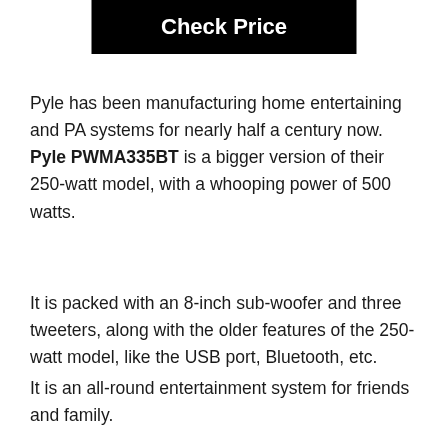Check Price
Pyle has been manufacturing home entertaining and PA systems for nearly half a century now. Pyle PWMA335BT is a bigger version of their 250-watt model, with a whooping power of 500 watts.
It is packed with an 8-inch sub-woofer and three tweeters, along with the older features of the 250-watt model, like the USB port, Bluetooth, etc.
It is an all-round entertainment system for friends and family.